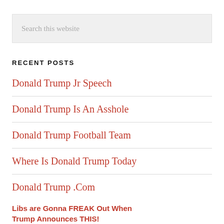Search this website
RECENT POSTS
Donald Trump Jr Speech
Donald Trump Is An Asshole
Donald Trump Football Team
Where Is Donald Trump Today
Donald Trump .Com
Libs are Gonna FREAK Out When Trump Announces THIS!